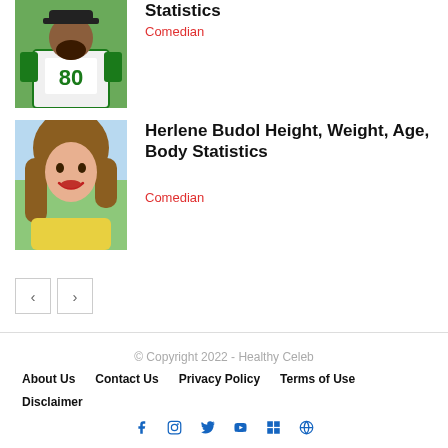[Figure (photo): Partial view of a man in a sports jersey number 80 with a green and yellow color scheme]
Statistics
Comedian
[Figure (photo): Young woman with long brown hair, wearing a yellow top, smiling]
Herlene Budol Height, Weight, Age, Body Statistics
Comedian
< >
© Copyright 2022 - Healthy Celeb
About Us   Contact Us   Privacy Policy   Terms of Use
Disclaimer
[Figure (infographic): Social media icons: Facebook, Instagram, Twitter, Vimeo, Windows, WordPress]